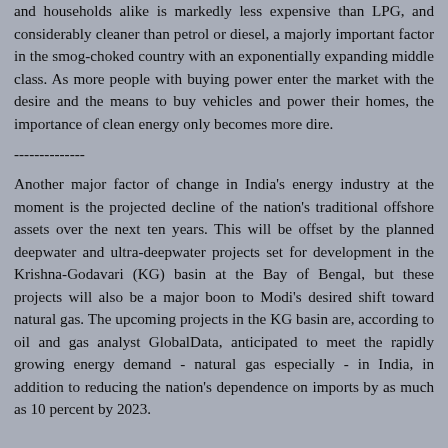and households alike is markedly less expensive than LPG, and considerably cleaner than petrol or diesel, a majorly important factor in the smog-choked country with an exponentially expanding middle class. As more people with buying power enter the market with the desire and the means to buy vehicles and power their homes, the importance of clean energy only becomes more dire.
--------------
Another major factor of change in India's energy industry at the moment is the projected decline of the nation's traditional offshore assets over the next ten years. This will be offset by the planned deepwater and ultra-deepwater projects set for development in the Krishna-Godavari (KG) basin at the Bay of Bengal, but these projects will also be a major boon to Modi's desired shift toward natural gas. The upcoming projects in the KG basin are, according to oil and gas analyst GlobalData, anticipated to meet the rapidly growing energy demand - natural gas especially - in India, in addition to reducing the nation's dependence on imports by as much as 10 percent by 2023.